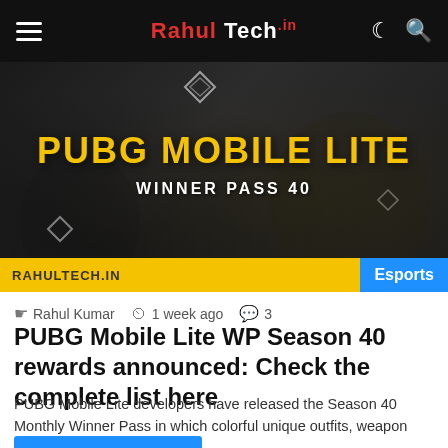Rahul Tech.in — Navigation bar with hamburger menu, logo, dark mode and search icons
[Figure (screenshot): PUBG Mobile Lite Winner Pass 40 promotional image on dark background with yellow text 'PUBG MOBILE LITE' and white text 'WINNER PASS 40', with RAHULTECH.IN watermark on yellow bar at bottom and Esports badge in blue]
Rahul Kumar  1 week ago  3
PUBG Mobile Lite WP Season 40 rewards announced: Check the complete list here
PUBG Mobile Lite developers have released the Season 40 Monthly Winner Pass in which colorful unique outfits, weapon skins, and…